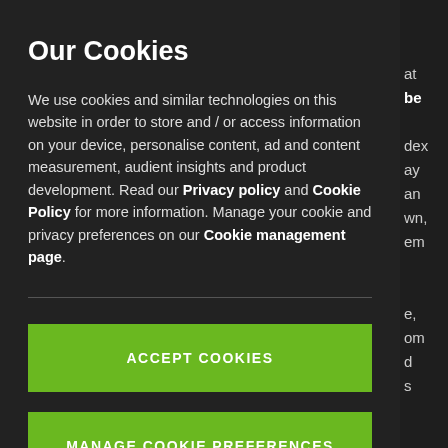Our Cookies
We use cookies and similar technologies on this website in order to store and / or access information on your device, personalise content, ad and content measurement, audient insights and product development. Read our Privacy policy and Cookie Policy for more information. Manage your cookie and privacy preferences on our Cookie management page.
ACCEPT COOKIES
MANAGE COOKIE PREFERENCES